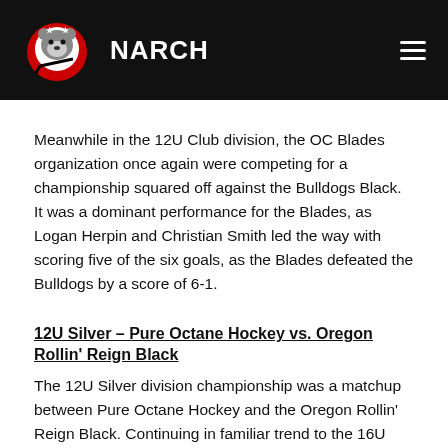NARCH
Meanwhile in the 12U Club division, the OC Blades organization once again were competing for a championship squared off against the Bulldogs Black. It was a dominant performance for the Blades, as Logan Herpin and Christian Smith led the way with scoring five of the six goals, as the Blades defeated the Bulldogs by a score of 6-1.
12U Silver – Pure Octane Hockey vs. Oregon Rollin' Reign Black
The 12U Silver division championship was a matchup between Pure Octane Hockey and the Oregon Rollin' Reign Black. Continuing in familiar trend to the 16U Platinum division, when these two teams squared off in the round robin, it was Oregon